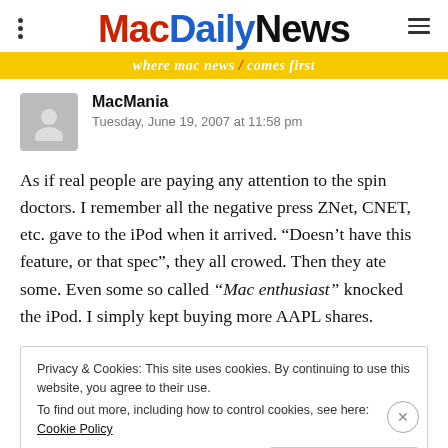MacDailyNews — where mac news comes first
MacMania
Tuesday, June 19, 2007 at 11:58 pm
As if real people are paying any attention to the spin doctors. I remember all the negative press ZNet, CNET, etc. gave to the iPod when it arrived. “Doesn’t have this feature, or that spec”, they all crowed. Then they ate some. Even some so called “Mac enthusiast” knocked the iPod. I simply kept buying more AAPL shares.
Privacy & Cookies: This site uses cookies. By continuing to use this website, you agree to their use.
To find out more, including how to control cookies, see here: Cookie Policy
Close and accept